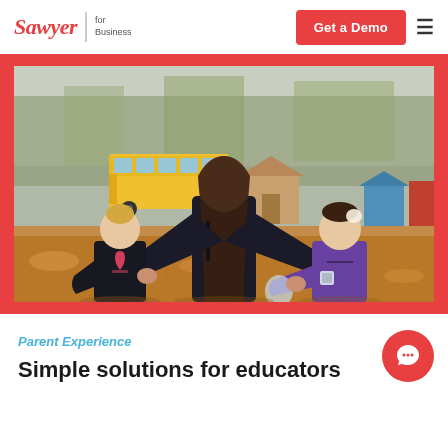Sawyer for Business — Get a Demo
[Figure (photo): An educator/teacher walking outdoors in autumn, holding hands with two young children. A school bus and outdoor structures are visible in the background with fallen leaves on the ground.]
Parent Experience
Simple solutions for educators